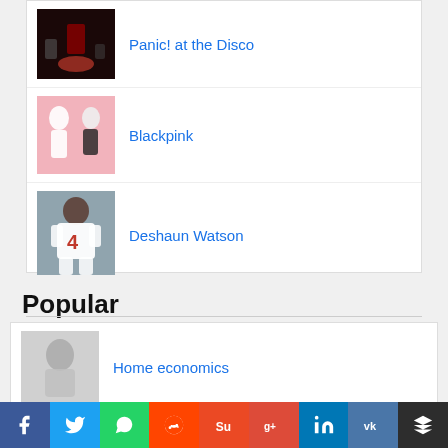Panic! at the Disco
Blackpink
Deshaun Watson
Luke Knowlton
Popular
Home economics
Facebook Twitter WhatsApp Reddit StumbleUpon Google+ LinkedIn VK Buffer